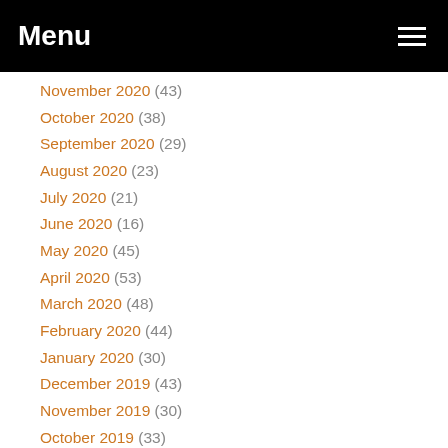Menu
November 2020 (43)
October 2020 (38)
September 2020 (29)
August 2020 (23)
July 2020 (21)
June 2020 (16)
May 2020 (45)
April 2020 (53)
March 2020 (48)
February 2020 (44)
January 2020 (30)
December 2019 (43)
November 2019 (30)
October 2019 (33)
September 2019 (55)
August 2019 (21)
July 2019 (17)
June 2019 (24)
May 2019 (49)